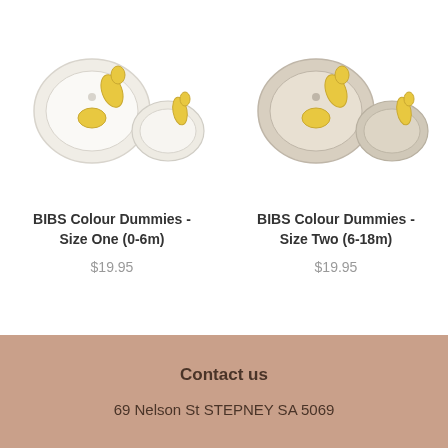[Figure (photo): Two BIBS colour dummies in ivory/white colour, one front-facing and one side-facing]
BIBS Colour Dummies - Size One (0-6m)
$19.95
[Figure (photo): Two BIBS colour dummies in beige/sand colour, one front-facing and one side-facing]
BIBS Colour Dummies - Size Two (6-18m)
$19.95
Contact us
69 Nelson St STEPNEY SA 5069